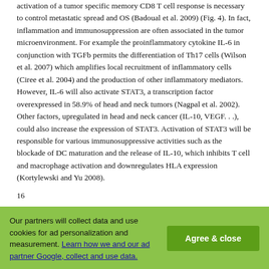activation of a tumor specific memory CD8 T cell response is necessary to control metastatic spread and OS (Badoual et al. 2009) (Fig. 4). In fact, inflammation and immunosuppression are often associated in the tumor microenvironment. For example the proinflammatory cytokine IL-6 in conjunction with TGFb permits the differentiation of Th17 cells (Wilson et al. 2007) which amplifies local recruitment of inflammatory cells (Ciree et al. 2004) and the production of other inflammatory mediators. However, IL-6 will also activate STAT3, a transcription factor overexpressed in 58.9% of head and neck tumors (Nagpal et al. 2002). Other factors, upregulated in head and neck cancer (IL-10, VEGF. . .), could also increase the expression of STAT3. Activation of STAT3 will be responsible for various immunosuppressive activities such as the blockade of DC maturation and the release of IL-10, which inhibits T cell and macrophage activation and downregulates HLA expression (Kortylewski and Yu 2008).
16
Our partners will collect data and use cookies for ad personalization and measurement. Learn how we and our ad partner Google, collect and use data. Agree & close